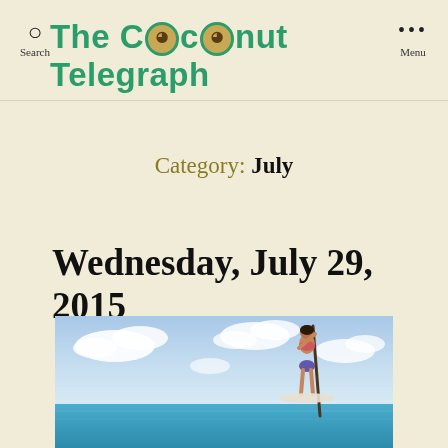The Coconut Telegraph
Category: July
Wednesday, July 29, 2015
[Figure (photo): Woman in bikini standing on paddleboard on turquoise ocean water with cloudy sky background]